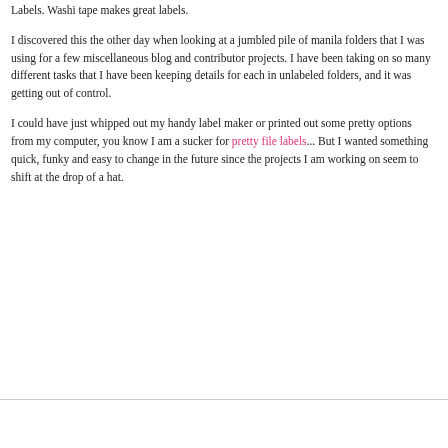Labels.  Washi tape makes great labels.
I discovered this the other day when looking at a jumbled pile of manila folders that I was using for a few miscellaneous blog and contributor projects.  I have been taking on so many different tasks that I have been keeping details for each in unlabeled folders, and it was getting out of control.
I could have just whipped out my handy label maker or printed out some pretty options from my computer, you know I am a sucker for pretty file labels...  But I wanted something quick, funky and easy to change in the future since the projects I am working on seem to shift at the drop of a hat.